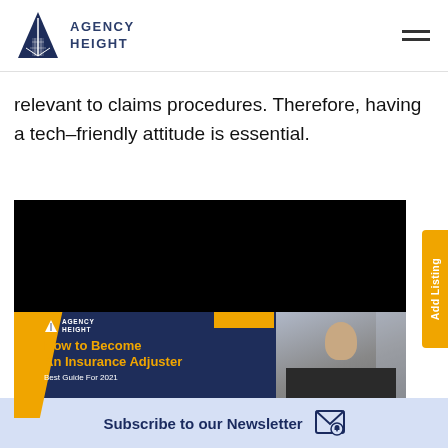[Figure (logo): Agency Height logo with triangular building icon and text AGENCY HEIGHT]
relevant to claims procedures. Therefore, having a tech-friendly attitude is essential.
[Figure (screenshot): Embedded video/image card from Agency Height showing 'How to Become An Insurance Adjuster – Best Guide For 2021' with a photo of a man in a suit with glasses looking at a laptop, dark navy background with orange accents]
Subscribe to our Newsletter